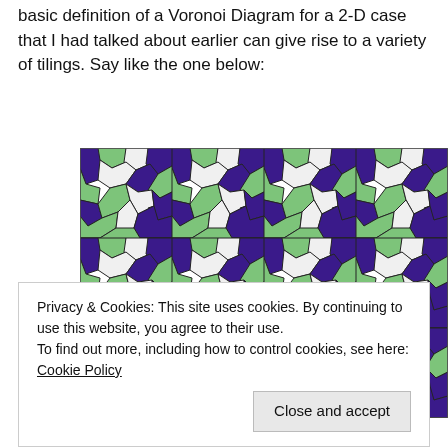basic definition of a Voronoi Diagram for a 2-D case that I had talked about earlier can give rise to a variety of tilings. Say like the one below:
[Figure (illustration): A colorful geometric tiling pattern using Voronoi-style polygons in purple, green, and white arranged in a repeating mosaic pattern.]
Privacy & Cookies: This site uses cookies. By continuing to use this website, you agree to their use.
To find out more, including how to control cookies, see here: Cookie Policy